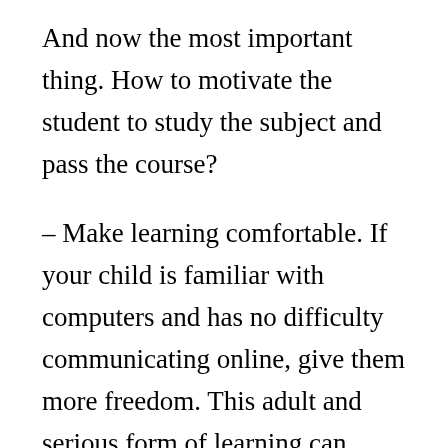And now the most important thing. How to motivate the student to study the subject and pass the course?
– Make learning comfortable. If your child is familiar with computers and has no difficulty communicating online, give them more freedom. This adult and serious form of learning can reveal unexpected talents of self-organization in him. After all, he's not just playing “shooter” or wandering around the web looking for contacts that interest him,